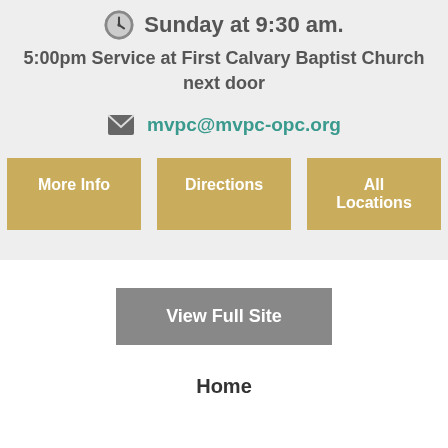Sunday at 9:30 am.
5:00pm Service at First Calvary Baptist Church next door
mvpc@mvpc-opc.org
More Info
Directions
All Locations
View Full Site
Home